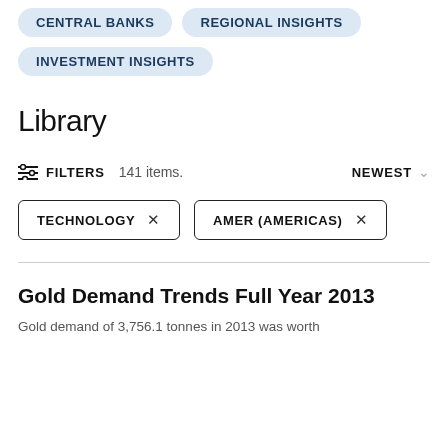CENTRAL BANKS
REGIONAL INSIGHTS
INVESTMENT INSIGHTS
Library
FILTERS   141 items.   NEWEST
TECHNOLOGY ×
AMER (AMERICAS) ×
Gold Demand Trends Full Year 2013
Gold demand of 3,756.1 tonnes in 2013 was worth